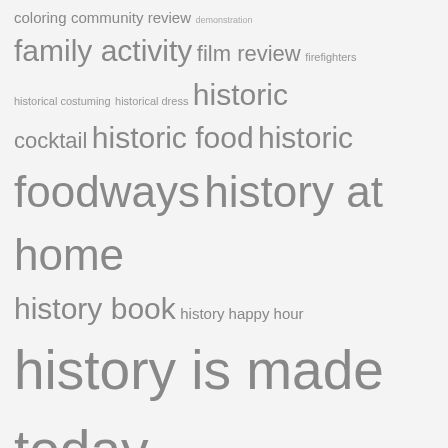[Figure (infographic): Tag cloud of content categories: coloring, community review, demonstration, family activity, film review, firefighters, historical costuming, historical dress, historic cocktail, historic food, historic foodways, history at home, history book, history happy hour, history is made today, history recipe, holly days, mad lib, man overboard, movie review, museum program, music review, oral history, oyster boat, podcast, podcast review, saugatuck hose co, saugatuck river, spooktober, staff review, staples high school, tv review, westport coloring page. Words sized by frequency/importance.]